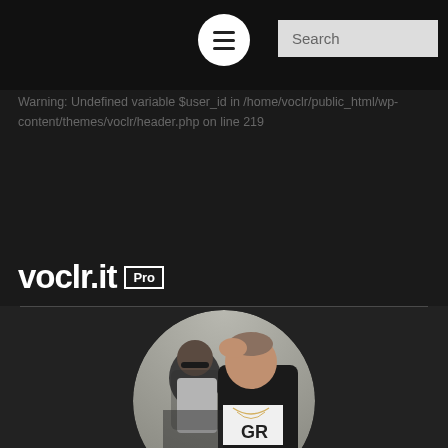Search
Warning: Undefined variable $user_id in /home/voclr/public_html/wp-content/themes/voclr/header.php on line 219
voclr.it Pro
[Figure (photo): Circular profile photo of two men, one wearing sunglasses, the other in a black jacket with chain necklace, outdoor setting]
OneRepublic
24 Acapellas